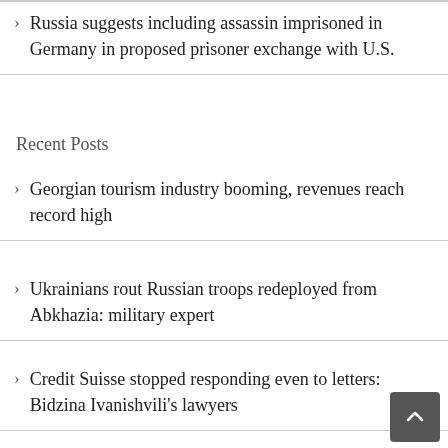Russia suggests including assassin imprisoned in Germany in proposed prisoner exchange with U.S.
Recent Posts
Georgian tourism industry booming, revenues reach record high
Ukrainians rout Russian troops redeployed from Abkhazia: military expert
Credit Suisse stopped responding even to letters: Bidzina Ivanishvili's lawyers
Civic groups in Georgia campaign to help Ukrainian refugees left out in the street